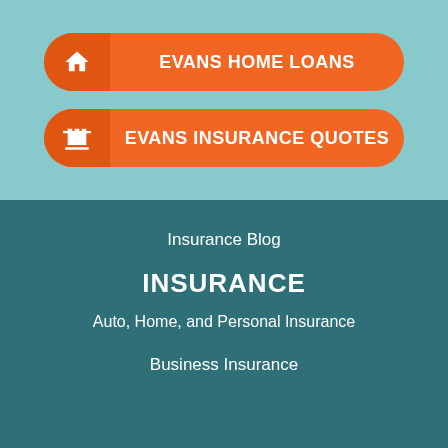[Figure (infographic): Orange rounded button with house icon and text EVANS HOME LOANS on teal background]
[Figure (infographic): Orange rounded button with factory/building icon and text EVANS INSURANCE QUOTES on teal background]
Insurance Blog
INSURANCE
Auto, Home, and Personal Insurance
Business Insurance